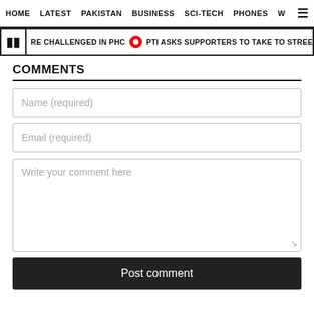HOME  LATEST  PAKISTAN  BUSINESS  SCI-TECH  PHONES  W  ☰
RE CHALLENGED IN PHC  •  PTI ASKS SUPPORTERS TO TAKE TO STREETS AMID POSS
COMMENTS
Name (required)
Email (required)
Write your comment here
Post comment